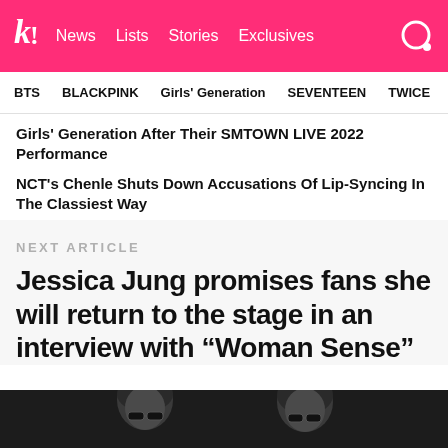k! News Lists Stories Exclusives
BTS  BLACKPINK  Girls' Generation  SEVENTEEN  TWICE
Girls' Generation After Their SMTOWN LIVE 2022 Performance
NCT's Chenle Shuts Down Accusations Of Lip-Syncing In The Classiest Way
NEXT ARTICLE
Jessica Jung promises fans she will return to the stage in an interview with “Woman Sense”
[Figure (photo): Black and white photo of two women wearing sunglasses]